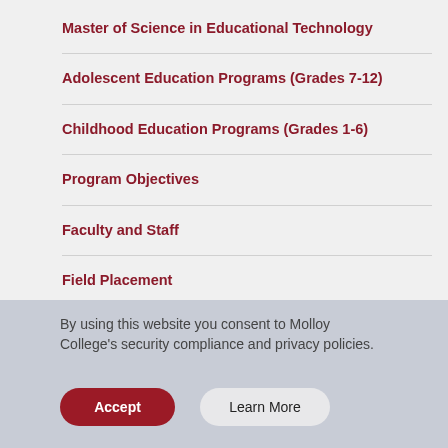Master of Science in Educational Technology
Adolescent Education Programs (Grades 7-12)
Childhood Education Programs (Grades 1-6)
Program Objectives
Faculty and Staff
Field Placement
Graduate Level Courses
By using this website you consent to Molloy College’s security compliance and privacy policies.